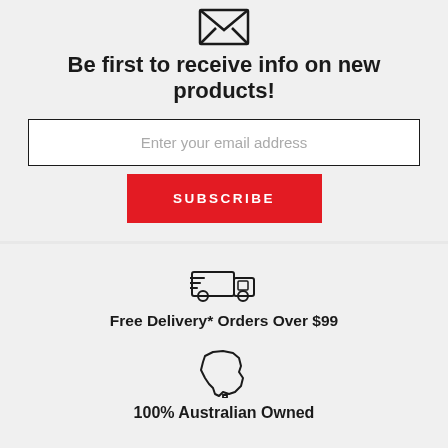[Figure (illustration): Envelope icon at top]
Be first to receive info on new products!
Enter your email address
SUBSCRIBE
[Figure (illustration): Fast delivery truck icon]
Free Delivery* Orders Over $99
[Figure (illustration): Australia map icon]
100% Australian Owned